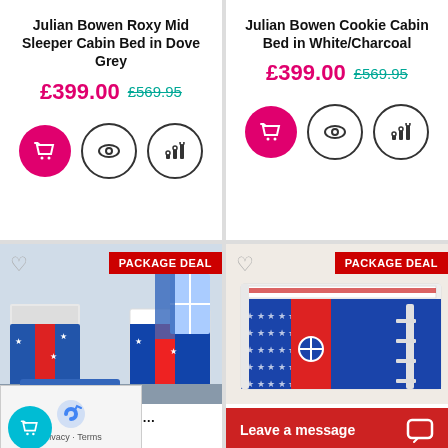Julian Bowen Roxy Mid Sleeper Cabin Bed in Dove Grey
£399.00  £569.95
Julian Bowen Cookie Cabin Bed in White/Charcoal
£399.00  £569.95
[Figure (photo): Children's cabin bed with blue and red star-pattern tent, room setting with toys and star wallpaper. Package Deal badge shown.]
[Figure (photo): Children's cabin bed with blue star-pattern and red door tent curtain, white frame. Package Deal badge shown.]
Julian Bowen Pluto M...
Leave a message